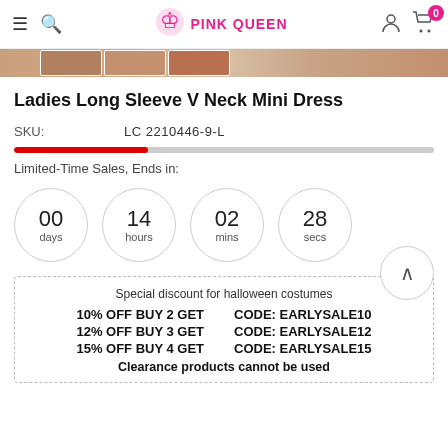PINK QUEEN
[Figure (photo): Thumbnail image strip showing dress product photos]
Ladies Long Sleeve V Neck Mini Dress
SKU: LC2210446-9-L
Limited-Time Sales, Ends in:
00 days  14 hours  02 mins  28 secs
Special discount for halloween costumes
10% OFF BUY 2 GET   CODE: EARLYSALE10
12% OFF BUY 3 GET   CODE: EARLYSALE12
15% OFF BUY 4 GET   CODE: EARLYSALE15
Clearance products cannot be used